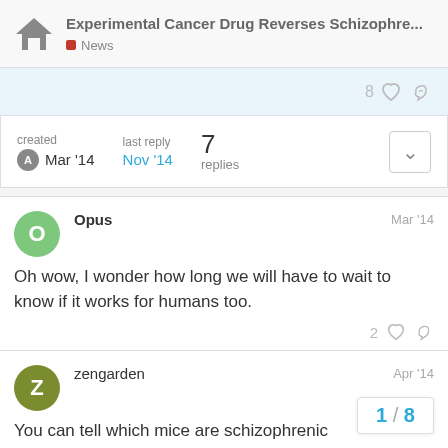Experimental Cancer Drug Reverses Schizophre... | News
8 likes
| created | last reply | replies |
| --- | --- | --- |
| Mar '14 | Nov '14 | 7 |
Opus  Mar '14
Oh wow, I wonder how long we will have to wait to know if it works for humans too.
2 likes
zengarden  Apr '14
You can tell which mice are schizophrenic
1 / 8